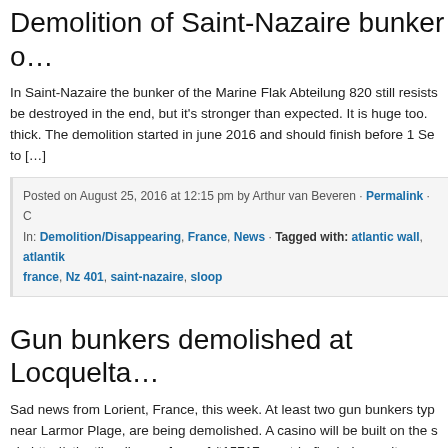Demolition of Saint-Nazaire bunker o…
In Saint-Nazaire the bunker of the Marine Flak Abteilung 820 still resists be destroyed in the end, but it's stronger than expected. It is huge too. thick. The demolition started in june 2016 and should finish before 1 Se to […]
Posted on August 25, 2016 at 12:15 pm by Arthur van Beveren · Permalink · C In: Demolition/Disappearing, France, News · Tagged with: atlantic wall, atlantik france, Nz 401, saint-nazaire, sloop
Gun bunkers demolished at Locquelta…
Sad news from Lorient, France, this week. At least two gun bunkers typ near Larmor Plage, are being demolished. A casino will be built on the s via http://atlantikwall.superforum.fr/t15717-c-est-la-fin-de-locqueltas
Posted on October 28, 2014 at 8:41 am by Arthur van Beveren · Permalink · Le In: Demolition/Disappearing, France, News · Tagged with: atlantic wall, atlantik larmor, locqueltas, lorient, raser, sloop
Demolition in Croisic…